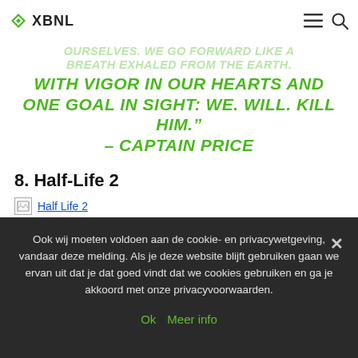XBNL
OURSELVES. WE GO FORWARD LIKE A BREATH EXHALED FROM THE EARTH. WITH VIGOR IN OUR HEARTS AND ONE GOAL IN SIGHT: WE. WILL. KILL HIM." – CAPTAIN PRICE
8. Half-Life 2
[Figure (photo): Broken image placeholder labeled 'Half Life 2']
Ook wij moeten voldoen aan de cookie- en privacywetgeving, vandaar deze melding. Als je deze website blijft gebruiken gaan we ervan uit dat je dat goed vindt dat we cookies gebruiken en ga je akkoord met onze privacyvoorwaarden.
Ok  Meer info